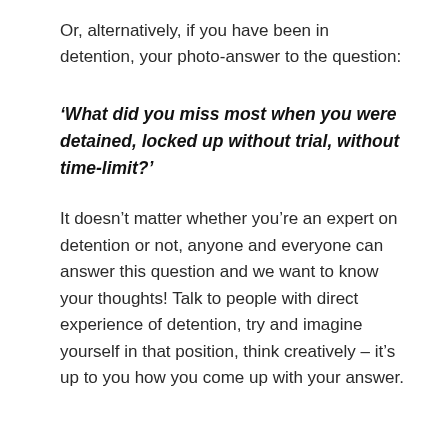Or, alternatively, if you have been in detention, your photo-answer to the question:
‘What did you miss most when you were detained, locked up without trial, without time-limit?’
It doesn’t matter whether you’re an expert on detention or not, anyone and everyone can answer this question and we want to know your thoughts! Talk to people with direct experience of detention, try and imagine yourself in that position, think creatively – it’s up to you how you come up with your answer.